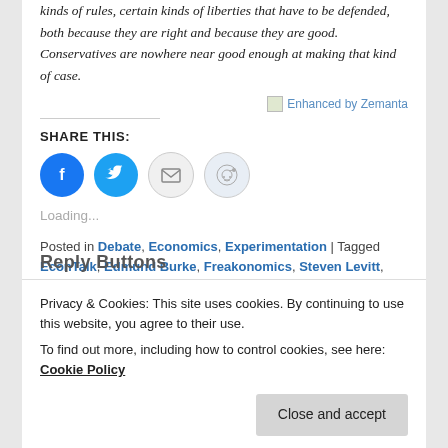kinds of rules, certain kinds of liberties that have to be defended, both because they are right and because they are good. Conservatives are nowhere near good enough at making that kind of case.
[Figure (screenshot): Enhanced by Zemanta badge/image link]
SHARE THIS:
[Figure (infographic): Social share buttons: Facebook, Twitter, Email, Reddit]
Loading...
Posted in Debate, Economics, Experimentation | Tagged EconTalk, Edmund Burke, Freakonomics, Steven Levitt,
Privacy & Cookies: This site uses cookies. By continuing to use this website, you agree to their use. To find out more, including how to control cookies, see here: Cookie Policy
Close and accept
Reply Button